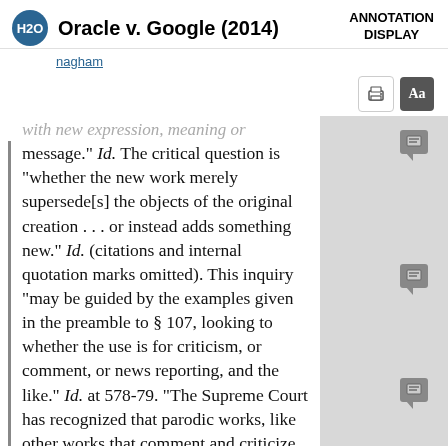Oracle v. Google (2014)
nagham
with new expression, meaning or message." Id. The critical question is "whether the new work merely supersede[s] the objects of the original creation . . . or instead adds something new." Id. (citations and internal quotation marks omitted). This inquiry "may be guided by the examples given in the preamble to § 107, looking to whether the use is for criticism, or comment, or news reporting, and the like." Id. at 578-79. "The Supreme Court has recognized that parodic works, like other works that comment and criticize, are by their nature often sufficiently